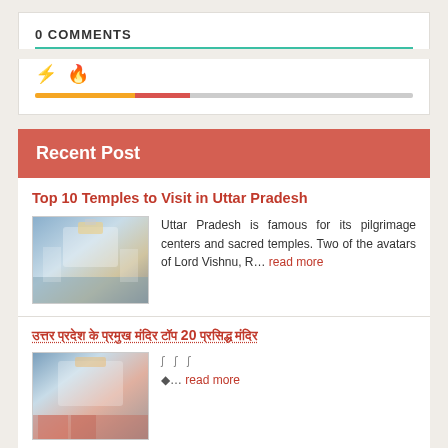0 COMMENTS
[Figure (infographic): Comment rating icons: lightning bolt (orange) and flame (red-orange), with a progress bar below showing orange, red, and gray segments]
Recent Post
Top 10 Temples to Visit in Uttar Pradesh
[Figure (photo): Photo of a temple in Uttar Pradesh]
Uttar Pradesh is famous for its pilgrimage centers and sacred temples. Two of the avatars of Lord Vishnu, R... read more
उत्तर प्रदेश के प्रमुख मंदिर टॉप 20 प्रसिद्ध मंदिर
[Figure (photo): Photo of a temple with decorations]
◆... read more